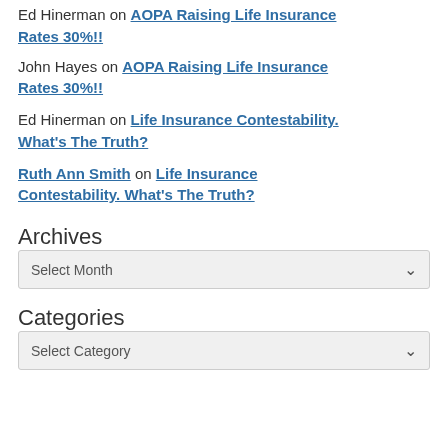Ed Hinerman on AOPA Raising Life Insurance Rates 30%!!
John Hayes on AOPA Raising Life Insurance Rates 30%!!
Ed Hinerman on Life Insurance Contestability. What's The Truth?
Ruth Ann Smith on Life Insurance Contestability. What's The Truth?
Archives
Select Month
Categories
Select Category